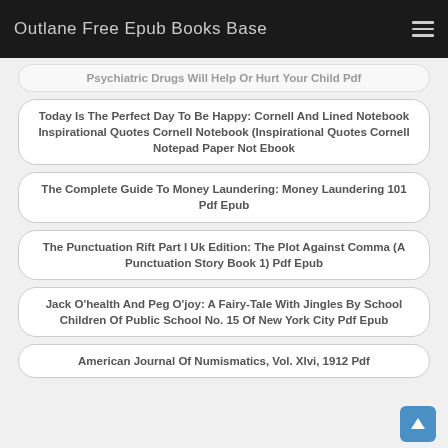Outlane Free Epub Books Base
Psychiatric Drugs Will Help Or Hurt Your Child Pdf
Today Is The Perfect Day To Be Happy: Cornell And Lined Notebook Inspirational Quotes Cornell Notebook (Inspirational Quotes Cornell Notepad Paper Not Ebook
The Complete Guide To Money Laundering: Money Laundering 101 Pdf Epub
The Punctuation Rift Part I Uk Edition: The Plot Against Comma (A Punctuation Story Book 1) Pdf Epub
Jack O'health And Peg O'joy: A Fairy-Tale With Jingles By School Children Of Public School No. 15 Of New York City Pdf Epub
American Journal Of Numismatics, Vol. Xlvi, 1912 Pdf